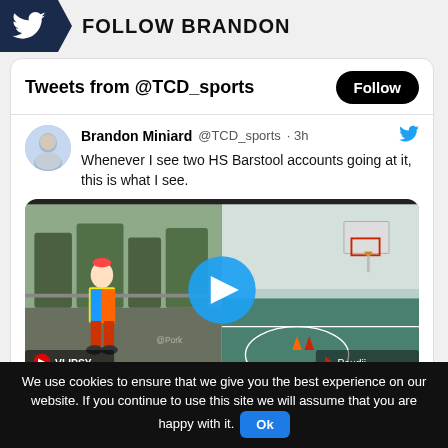FOLLOW BRANDON
Tweets from @TCD_sports
Brandon Miniard @TCD_sports · 3h
Whenever I see two HS Barstool accounts going at it, this is what I see.
[Figure (screenshot): Video thumbnail showing a basketball court with a clown on the left side and a basketball hoop on the right. A blue play button circle is in the center. VLIPSY and Poudii logos visible at bottom.]
We use cookies to ensure that we give you the best experience on our website. If you continue to use this site we will assume that you are happy with it. Ok